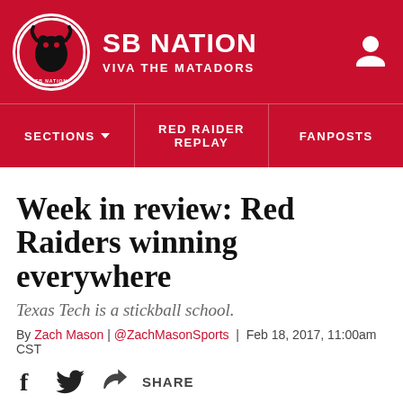SB NATION | VIVA THE MATADORS
SECTIONS | RED RAIDER REPLAY | FANPOSTS
Week in review: Red Raiders winning everywhere
Texas Tech is a stickball school.
By Zach Mason | @ZachMasonSports | Feb 18, 2017, 11:00am CST
[Figure (infographic): Social share icons: Facebook, Twitter, and Share button]
[Figure (photo): Circular avatar/author photo, dark background, partially shown at bottom of page]